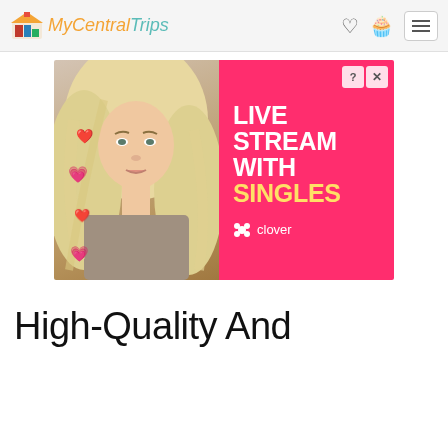My Central Trips
[Figure (photo): Advertisement banner for Clover dating app showing a blonde woman on the left and pink background on the right with text 'LIVE STREAM WITH SINGLES' and Clover logo]
High-Quality And